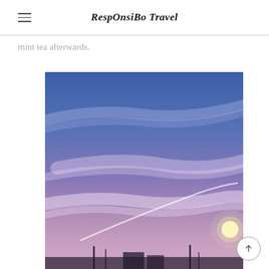RespOnsiBo Travel
mint tea afterwards.
[Figure (photo): A twilight/sunset sky photograph with gradient from deep blue at top to soft purple and pink hues lower, with wispy clouds and a bright light (moon or lamp) visible at lower right. Silhouettes of structures are barely visible at the bottom.]